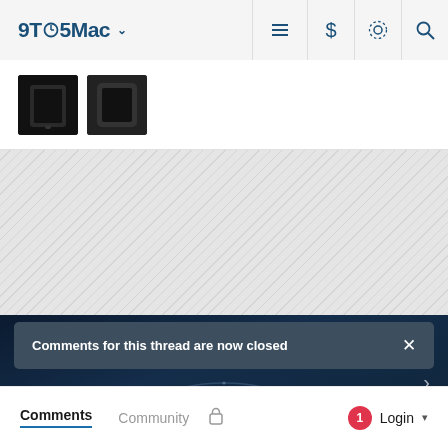9TO5Mac navigation bar with logo, menu, dollar, brightness, and search icons
[Figure (photo): Two small thumbnail images of dark-colored Apple devices (likely Apple Watch or iPhone) against a white background strip]
[Figure (other): Hatched grey advertisement placeholder area]
[Figure (photo): iPhone 14 event hero banner with dark blue starfield/water ring background and text 'iPhone 14 event confirmed for Sept. 7' and 'Far out' in italic]
Comments for this thread are now closed
Comments  Community  Login